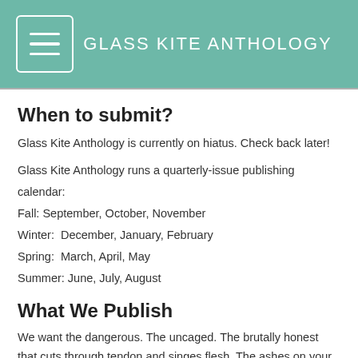GLASS KITE ANTHOLOGY
When to submit?
Glass Kite Anthology is currently on hiatus. Check back later!
Glass Kite Anthology runs a quarterly-issue publishing calendar:
Fall: September, October, November
Winter:  December, January, February
Spring:  March, April, May
Summer: June, July, August
What We Publish
We want the dangerous. The uncaged. The brutally honest that cuts through tendon and singes flesh. The ashes on your fingertips, the caverns between your cavities, the kneecaps bruised with jasmine tea. We want stale grief, outgrown sandals, lipstick stains on your brother's bedpost. We want last words scratched along cheeks, promises kept in skylines. Give us words about to break, bloated and